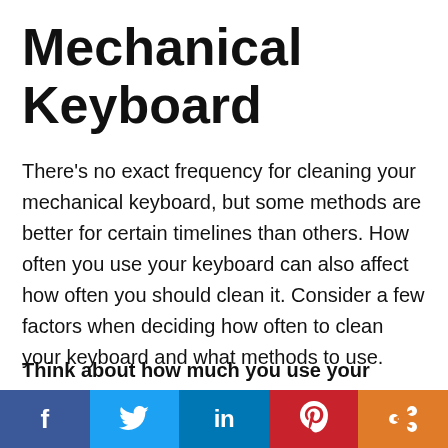Mechanical Keyboard
There’s no exact frequency for cleaning your mechanical keyboard, but some methods are better for certain timelines than others. How often you use your keyboard can also affect how often you should clean it. Consider a few factors when deciding how often to clean your keyboard and what methods to use.
Think about how much you use your
[Figure (infographic): Social sharing bar with five buttons: Facebook (dark blue), Twitter (light blue), LinkedIn (medium blue), Pinterest (red), Share (orange)]